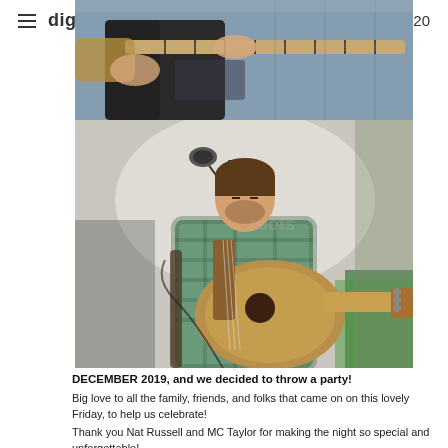≡ dig this... on 20
[Figure (photo): Close-up photo of a musician playing guitar or stringed instrument, cropped view showing hands and instrument neck]
[Figure (photo): Man playing acoustic guitar at a microphone, wearing a plaid shirt, performing on stage with green lighting in background]
DECEMBER 2019, and we decided to throw a party!
Big love to all the family, friends, and folks that came on on this lovely Friday, to help us celebrate!
Thank you Nat Russell and MC Taylor for making the night so special and unforgettable!